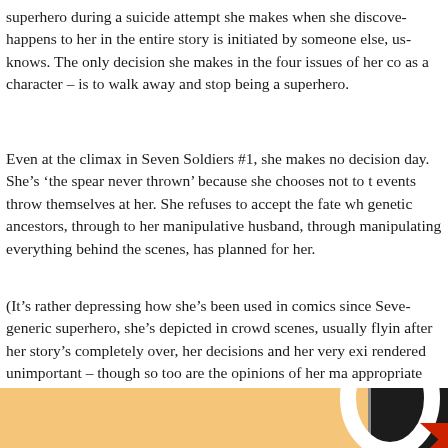superhero during a suicide attempt she makes when she discovers what happens to her in the entire story is initiated by someone else, using what she knows. The only decision she makes in the four issues of her comic — her defining choice as a character – is to walk away and stop being a superhero.
Even at the climax in Seven Soldiers #1, she makes no decision that saves the day. She's 'the spear never thrown' because she chooses not to throw herself at events throw themselves at her. She refuses to accept the fate which, through her genetic ancestors, through to her manipulative husband, through to the villain manipulating everything behind the scenes, has planned for her.
(It's rather depressing how she's been used in comics since Seven Soldiers. As a generic superhero, she's depicted in crowd scenes, usually flying around, slotted in after her story's completely over, her decisions and her very existence are rendered unimportant – though so too are the opinions of her many fans is the appropriate response).
[Figure (illustration): Bottom portion of page showing part of a comic book cover or panel — left side has an orange/yellow background, right side shows a black and white circular arc shape with a red triangular element.]